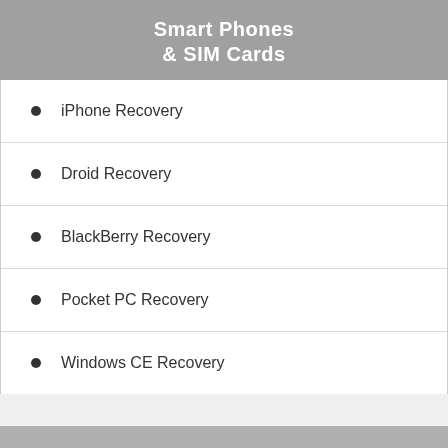Smart Phones & SIM Cards
iPhone Recovery
Droid Recovery
BlackBerry Recovery
Pocket PC Recovery
Windows CE Recovery